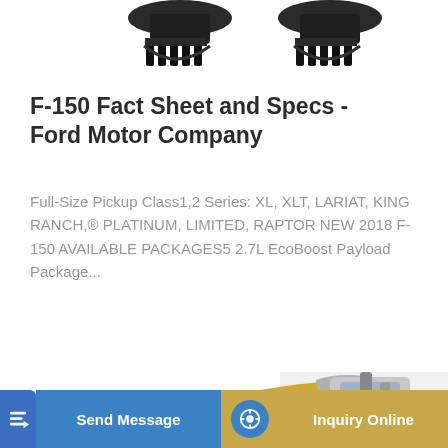[Figure (photo): Partial view of excavator bucket attachments (dark/black buckets) against white background, cropped at top of page]
F-150 Fact Sheet and Specs - Ford Motor Company
Full-Size Pickup Class1,2 Series: XL, XLT, LARIAT, KING RANCH,® PLATINUM, LIMITED, RAPTOR NEW 2018 F-150 AVAILABLE PACKAGES5 2.7L EcoBoost Payload Package...
[Figure (illustration): Learn More button - teal/cyan rounded rectangle button with white text]
[Figure (photo): Yellow and grey excavator/construction machine arm and cab, partially visible, cropped at bottom of page]
[Figure (infographic): Bottom navigation bar with Send Message button (blue) and Inquiry Online button (golden/tan), each with icons]